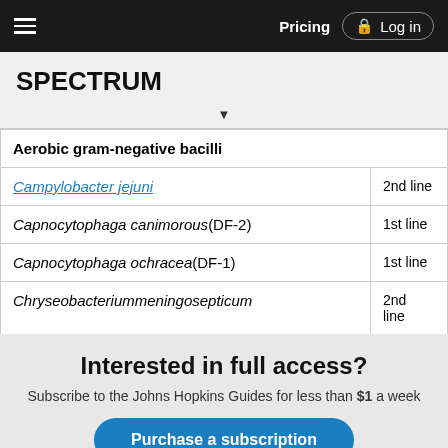Pricing  Log in
SPECTRUM
| Organism | Line |
| --- | --- |
| Aerobic gram-negative bacilli |  |
| Campylobacter jejuni | 2nd line |
| Capnocytophaga canimorous(DF-2) | 1st line |
| Capnocytophaga ochracea(DF-1) | 1st line |
| Chryseobacteriummeningosepticum | 2nd line |
Interested in full access?
Subscribe to the Johns Hopkins Guides for less than $1 a week
Purchase a subscription
I'm already a subscriber